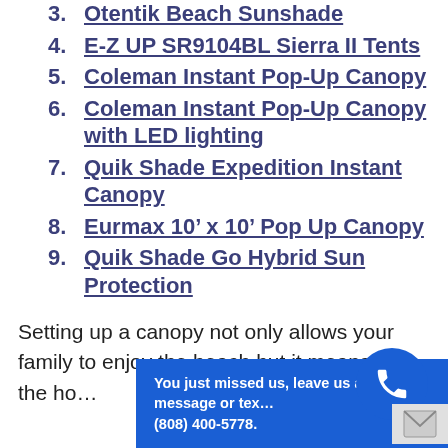3. Otentik Beach Sunshade
4. E-Z UP SR9104BL Sierra II Tents
5. Coleman Instant Pop-Up Canopy
6. Coleman Instant Pop-Up Canopy with LED lighting
7. Quik Shade Expedition Instant Canopy
8. Eurmax 10' x 10' Pop Up Canopy
9. Quik Shade Go Hybrid Sun Protection
Setting up a canopy not only allows your family to enjoy the beach but it means for the ho...